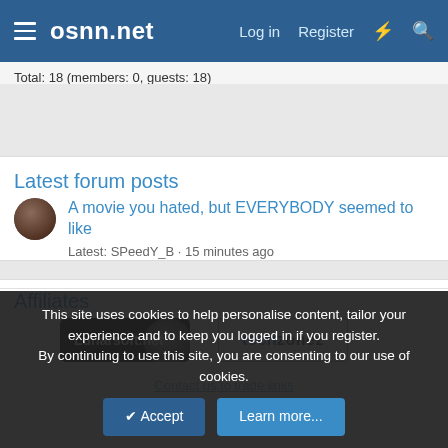osnn.net — Log in  Register
Total: 18 (members: 0, guests: 18)
Latest forum posts
A movie you hated, but EVERYBODY seemed to like
Latest: SPeedY_B · 15 minutes ago
Green Room
Affiliates
[Figure (logo): Lunarsoft.net logo — dark background with moon graphic and white text]
[Figure (logo): techzonez logo — white background with blue 'tech' and grey 'zonez' text]
Contact us to trade links
This site uses cookies to help personalise content, tailor your experience and to keep you logged in if you register.
By continuing to use this site, you are consenting to our use of cookies.